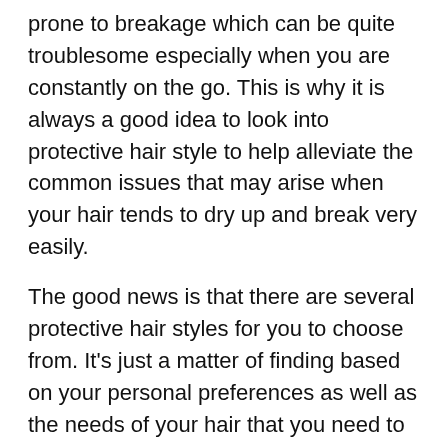prone to breakage which can be quite troublesome especially when you are constantly on the go. This is why it is always a good idea to look into protective hair style to help alleviate the common issues that may arise when your hair tends to dry up and break very easily.
The good news is that there are several protective hair styles for you to choose from. It's just a matter of finding based on your personal preferences as well as the needs of your hair that you need to keep in mind. If your hair needs this kind of help, here are a few options for you to consider.
Wigs. You've probably seen some women, and even men too, who wear wigs. This is actually the cheapest protective style there is since you can easily avoid the cost of having it installed on your